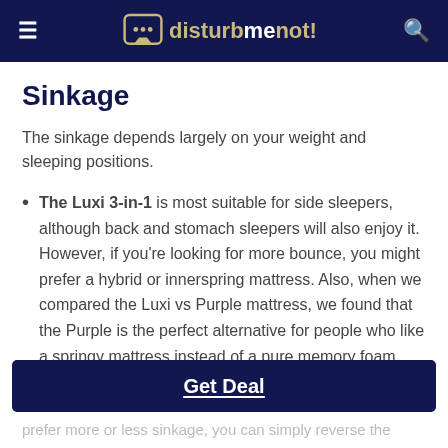disturbmenot!
Sinkage
The sinkage depends largely on your weight and sleeping positions.
The Luxi 3-in-1 is most suitable for side sleepers, although back and stomach sleepers will also enjoy it. However, if you're looking for more bounce, you might prefer a hybrid or innerspring mattress. Also, when we compared the Luxi vs Purple mattress, we found that the Purple is the perfect alternative for people who like a springy mattress instead of a pure memory foam one.
Get Deal
prefer more or less sinkage, you can simply reverse the